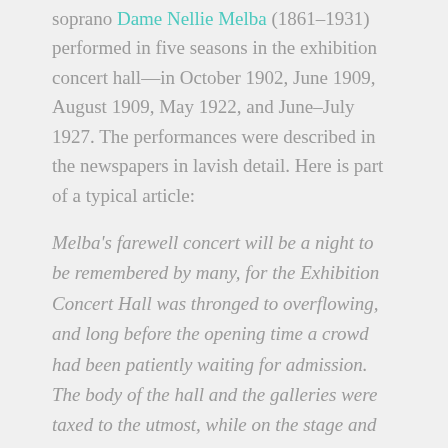soprano Dame Nellie Melba (1861–1931) performed in five seasons in the exhibition concert hall—in October 1902, June 1909, August 1909, May 1922, and June–July 1927. The performances were described in the newspapers in lavish detail. Here is part of a typical article:
Melba's farewell concert will be a night to be remembered by many, for the Exhibition Concert Hall was thronged to overflowing, and long before the opening time a crowd had been patiently waiting for admission. The body of the hall and the galleries were taxed to the utmost, while on the stage and at each side of the organ accommodation was also provided for music lovers. The Diva received an ovation